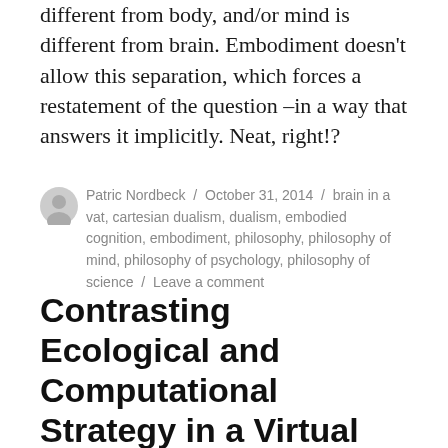different from body, and/or mind is different from brain. Embodiment doesn't allow this separation, which forces a restatement of the question –in a way that answers it implicitly. Neat, right!?
Patric Nordbeck / October 31, 2014 / brain in a vat, cartesian dualism, dualism, embodied cognition, embodiment, philosophy, philosophy of mind, philosophy of psychology, philosophy of science / Leave a comment
Contrasting Ecological and Computational Strategy in a Virtual Interception Task 1/5